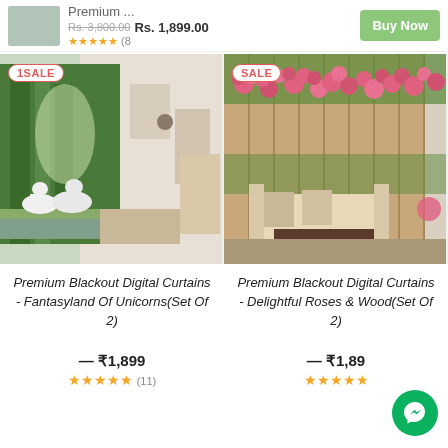[Figure (screenshot): Top product bar showing curtain thumbnail, Premium... title, Rs. 3,800.00 strikethrough price, Rs. 1,899.00 price, star rating (8 reviews), and green Buy Now button]
[Figure (photo): Room with unicorn forest digital curtains - SALE badge, product photo showing white unicorns in forest scene]
[Figure (photo): Room with roses and wood digital curtains - SALE badge, product photo showing pink roses on wood fence scene]
Premium Blackout Digital Curtains - Fantasyland Of Unicorns(Set Of 2)
— ₹1,899
★★★★★ (11)
Premium Blackout Digital Curtains - Delightful Roses & Wood(Set Of 2)
— ₹1,89...
★★★★★